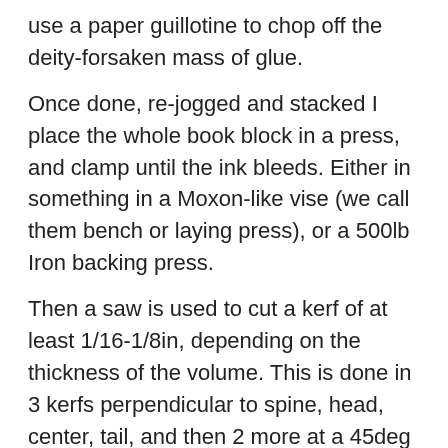use a paper guillotine to chop off the deity-forsaken mass of glue.
Once done, re-jogged and stacked I place the whole book block in a press, and clamp until the ink bleeds. Either in something in a Moxon-like vise (we call them bench or laying press), or a 500lb Iron backing press.
Then a saw is used to cut a kerf of at least 1/16-1/8in, depending on the thickness of the volume. This is done in 3 kerfs perpendicular to spine, head, center, tail, and then 2 more at a 45deg angle one each between center and head, and center and tail.
Full strength PVA glue is laid down in the kerf, allowed a minute or two to start settling in, lightly worked into the ends of the paper,